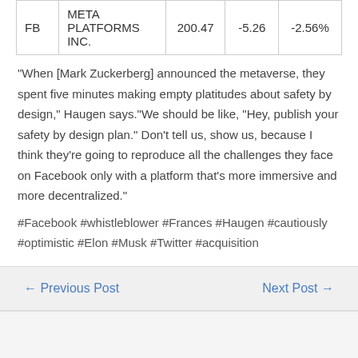|  |  |  |  |  |
| --- | --- | --- | --- | --- |
| FB | META PLATFORMS INC. | 200.47 | -5.26 | -2.56% |
“When [Mark Zuckerberg] announced the metaverse, they spent five minutes making empty platitudes about safety by design,” Haugen says.“We should be like, “Hey, publish your safety by design plan.” Don’t tell us, show us, because I think they’re going to reproduce all the challenges they face on Facebook only with a platform that’s more immersive and more decentralized.”
#Facebook #whistleblower #Frances #Haugen #cautiously #optimistic #Elon #Musk #Twitter #acquisition
← Previous Post    Next Post →